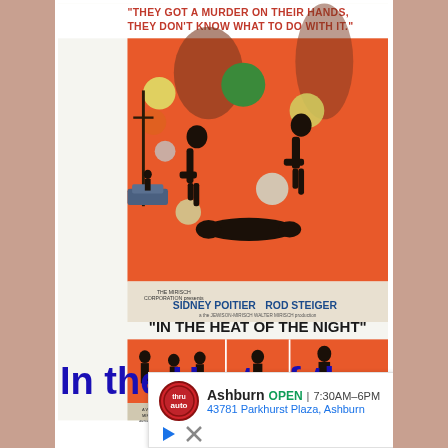[Figure (illustration): Movie poster for 'In the Heat of the Night' featuring Sidney Poitier and Rod Steiger. Orange background with silhouetted figures. Tagline: 'They got a murder on their hands, they don't know what to do with it.' Top panel shows figures crouching over a body, bottom strip shows three scene vignettes.]
In the Heat of the
[Figure (screenshot): Advertisement overlay for Thr Auto (auto parts store) in Ashburn. Shows logo, OPEN status, hours 7:30AM-6PM, address 43781 Parkhurst Plaza, Ashburn, navigation arrow icon, and close/play icons at bottom.]